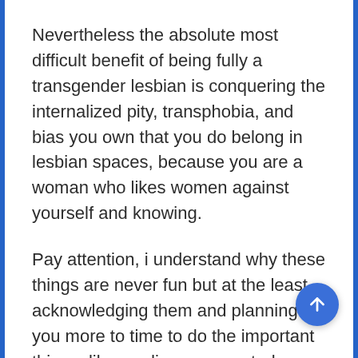Nevertheless the absolute most difficult benefit of being fully a transgender lesbian is conquering the internalized pity, transphobia, and bias you own that you do belong in lesbian spaces, because you are a woman who likes women against yourself and knowing.
Pay attention, i understand why these things are never fun but at the least acknowledging them and planning you more to time to do the important things: like reading up on astrology, petting cats, and marching through the streets filled with beautiful indignation for them gives. The true truth is that trans lesbians are around forever, are about at this time, and you will not have to do it alone while we face a lot of risks! Now select your best ensemble for an over-heating globe and then make it simply only a little hotter.